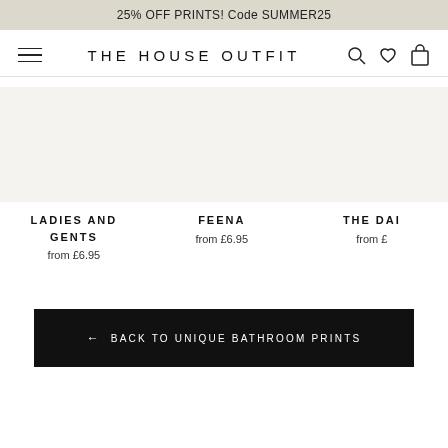25% OFF PRINTS! Code SUMMER25
THE HOUSE OUTFIT
LADIES AND GENTS
from £6.95
FEENA
from £6.95
THE DAI…
from £…
← BACK TO UNIQUE BATHROOM PRINTS